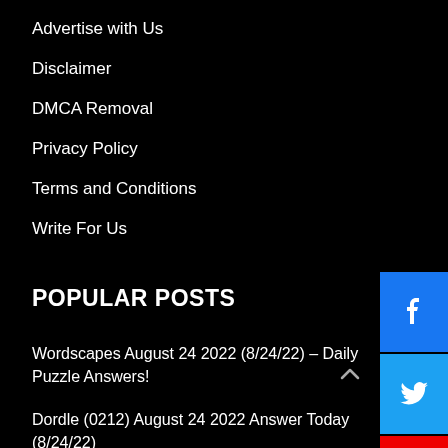Advertise with Us
Disclaimer
DMCA Removal
Privacy Policy
Terms and Conditions
Write For Us
POPULAR POSTS
Wordscapes August 24 2022 (8/24/22) – Daily Puzzle Answers!
Dordle (0212) August 24 2022 Answer Today (8/24/22)
Weaver Game August 24 2022 Answer Today (8/24/2022)
Poeltl August 24 2022 Answer (8/24/22)
LATEST NEWS